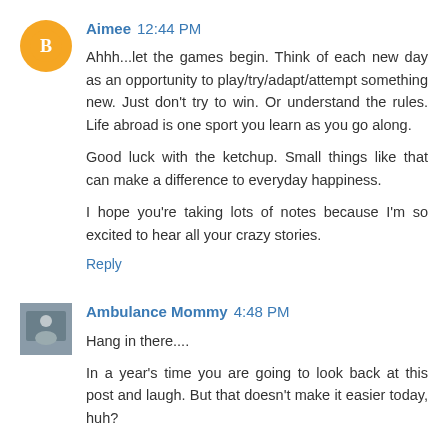Aimee 12:44 PM
Ahhh...let the games begin. Think of each new day as an opportunity to play/try/adapt/attempt something new. Just don't try to win. Or understand the rules. Life abroad is one sport you learn as you go along.

Good luck with the ketchup. Small things like that can make a difference to everyday happiness.

I hope you're taking lots of notes because I'm so excited to hear all your crazy stories.
Reply
Ambulance Mommy 4:48 PM
Hang in there....

In a year's time you are going to look back at this post and laugh. But that doesn't make it easier today, huh?